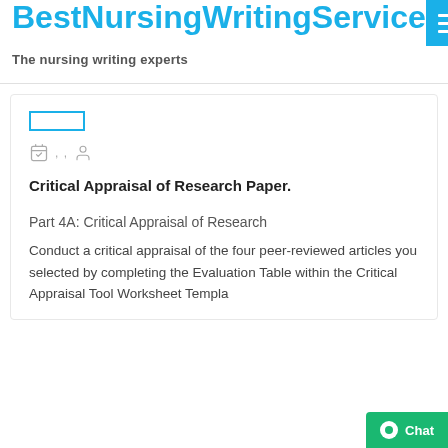BestNursingWritingService
The nursing writing experts
Critical Appraisal of Research Paper.
Part 4A: Critical Appraisal of Research
Conduct a critical appraisal of the four peer-reviewed articles you selected by completing the Evaluation Table within the Critical Appraisal Tool Worksheet Templa